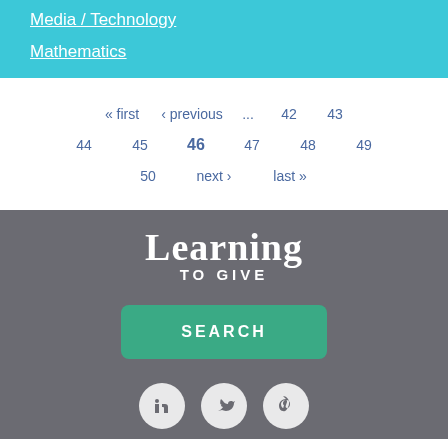Media / Technology
Mathematics
« first  ‹ previous  ...  42  43  44  45  46  47  48  49  50  next ›  last »
[Figure (logo): Learning TO GIVE logo in white text on gray background]
SEARCH
[Figure (infographic): Social media icons: LinkedIn, Twitter, Pinterest in white circles on gray background]